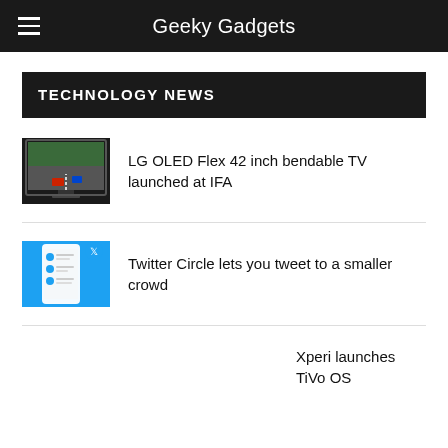Geeky Gadgets
TECHNOLOGY NEWS
[Figure (screenshot): Thumbnail of LG OLED Flex 42 inch bendable TV]
LG OLED Flex 42 inch bendable TV launched at IFA
[Figure (screenshot): Thumbnail of Twitter app showing Twitter Circle feature]
Twitter Circle lets you tweet to a smaller crowd
Xperi launches TiVo OS